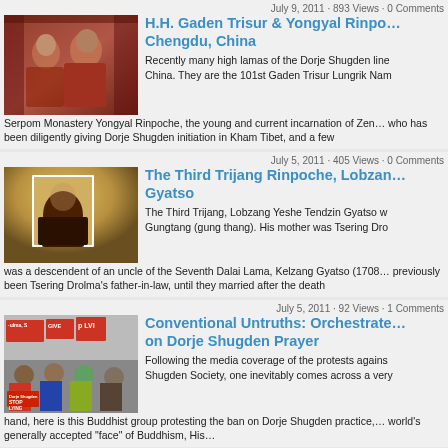July 9, 2011 · 893 Views · 0 Comments
H.H. Gaden Trisur & Yongyal Rinpoche in Chengdu, China
[Figure (photo): Two lamas in traditional robes seated together]
Recently many high lamas of the Dorje Shugden line… China. They are the 101st Gaden Trisur Lungrik Nam… Serpom Monastery Yongyal Rinpoche, the young and current incarnation of Zen… who has been diligently giving Dorje Shugden initiation in Kham Tibet, and a few
July 5, 2011 · 405 Views · 0 Comments
The Third Trijang Rinpoche, Lobzang Yeshe Tendzin Gyatso
[Figure (photo): A lama seated in front of a white rectangular frame]
The Third Trijang, Lobzang Yeshe Tendzin Gyatso w… Gungtang (gung thang). His mother was Tsering Dro… was a descendent of an uncle of the Seventh Dalai Lama, Kelzang Gyatso (1708… previously been Tsering Drolma's father-in-law, until they married after the death
July 5, 2011 · 92 Views · 1 Comments
Conventional Untruths: Orchestrated… on Dorje Shugden Prayer
[Figure (photo): Protesters holding signs at a rally, signs include STOP LYING and GIVE]
Following the media coverage of the protests agains… Shugden Society, one inevitably comes across a very… hand, here is this Buddhist group protesting the ban on Dorje Shugden practice,… world's generally accepted "face" of Buddhism, His…